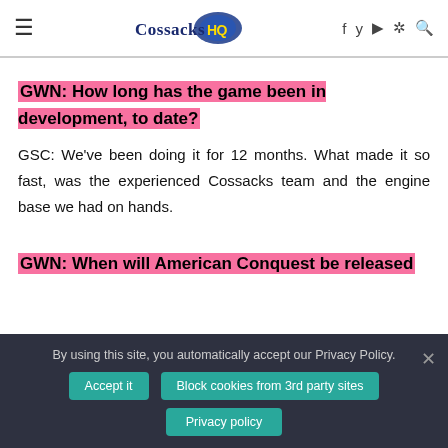Cossacks HQ — navigation header with hamburger menu, logo, social icons
GWN: How long has the game been in development, to date?
GSC: We've been doing it for 12 months. What made it so fast, was the experienced Cossacks team and the engine base we had on hands.
GWN: When will American Conquest be released
By using this site, you automatically accept our Privacy Policy.
Accept it  Block cookies from 3rd party sites  Privacy policy